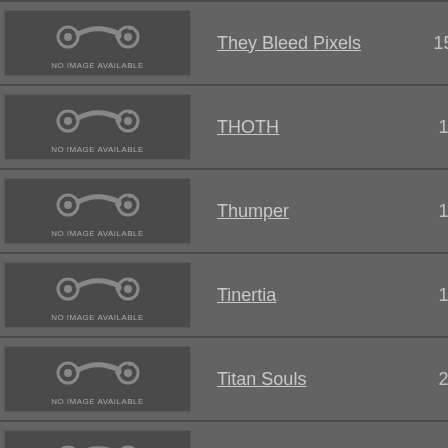| Image | Game Name | Count |  |
| --- | --- | --- | --- |
| NO IMAGE AVAILABLE | They Bleed Pixels | 150 | ? |
| NO IMAGE AVAILABLE | THOTH | 14 | ? |
| NO IMAGE AVAILABLE | Thumper | 19 | ? |
| NO IMAGE AVAILABLE | Tinertia | 18 |  |
| NO IMAGE AVAILABLE | Titan Souls | 27 | ? |
| NO IMAGE AVAILABLE | Toast Time | 9 | ? |